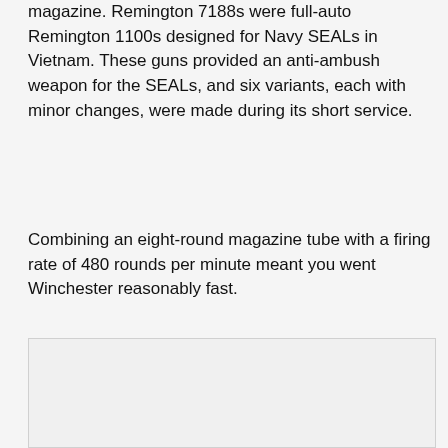magazine. Remington 7188s were full-auto Remington 1100s designed for Navy SEALs in Vietnam. These guns provided an anti-ambush weapon for the SEALs, and six variants, each with minor changes, were made during its short service.
Combining an eight-round magazine tube with a firing rate of 480 rounds per minute meant you went Winchester reasonably fast.
[Figure (photo): A partially visible rectangular image area with a light gray background, content not visible.]